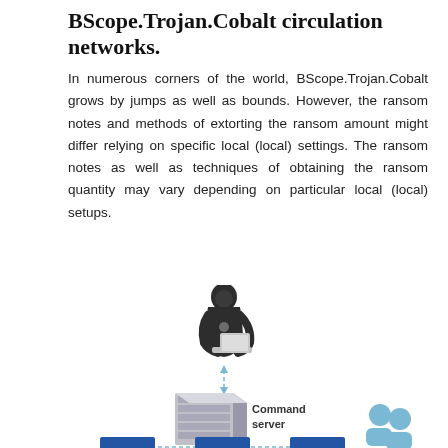BScope.Trojan.Cobalt circulation networks.
In numerous corners of the world, BScope.Trojan.Cobalt grows by jumps as well as bounds. However, the ransom notes and methods of extorting the ransom amount might differ relying on specific local (local) settings. The ransom notes as well as techniques of obtaining the ransom quantity may vary depending on particular local (local) setups.
[Figure (infographic): Network diagram showing a hacker figure at top connected by dashed bidirectional arrow to a Command server (rack/server unit) below it, with dashed arrows branching outward at the bottom to three targets including server boxes and a group of people icons.]